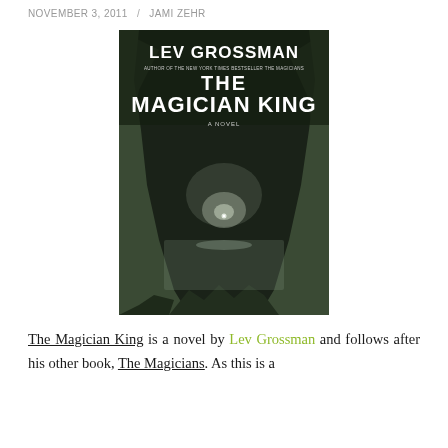NOVEMBER 3, 2011 / JAMI ZEHR
[Figure (photo): Book cover of 'The Magician King' by Lev Grossman. Dark background showing a rocky cave arch opening to a misty sea with a small glowing light in the distance. White bold text reads 'LEV GROSSMAN', subtitle 'AUTHOR OF THE NEW YORK TIMES BESTSELLER THE MAGICIANS', then 'THE MAGICIAN KING', and 'A NOVEL' beneath.]
The Magician King is a novel by Lev Grossman and follows after his other book, The Magicians. As this is a